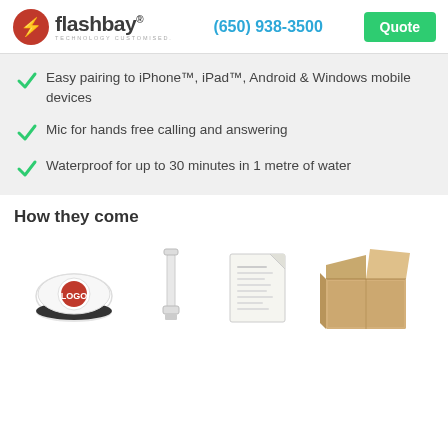flashbay TECHNOLOGY CUSTOMISED. (650) 938-3500 Quote
Easy pairing to iPhone™, iPad™, Android & Windows mobile devices
Mic for hands free calling and answering
Waterproof for up to 30 minutes in 1 metre of water
How they come
[Figure (photo): Product packaging contents: a round white Bluetooth speaker with logo, a white USB cable, a product manual/instruction sheet, and an open cardboard shipping box]